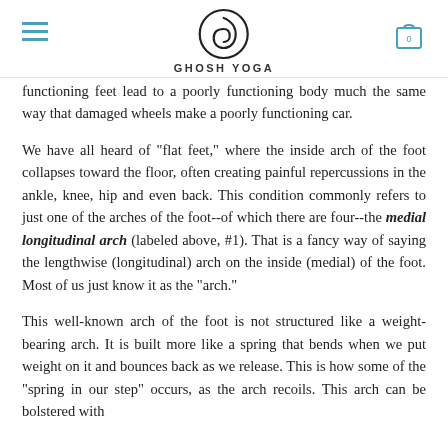GHOSH YOGA
functioning feet lead to a poorly functioning body much the same way that damaged wheels make a poorly functioning car.
We have all heard of "flat feet," where the inside arch of the foot collapses toward the floor, often creating painful repercussions in the ankle, knee, hip and even back. This condition commonly refers to just one of the arches of the foot--of which there are four--the medial longitudinal arch (labeled above, #1). That is a fancy way of saying the lengthwise (longitudinal) arch on the inside (medial) of the foot. Most of us just know it as the "arch."
This well-known arch of the foot is not structured like a weight-bearing arch. It is built more like a spring that bends when we put weight on it and bounces back as we release. This is how some of the "spring in our step" occurs, as the arch recoils. This arch can be bolstered with